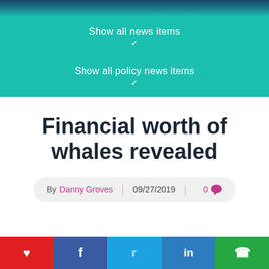[Figure (photo): Dark teal/ocean background photo strip at top]
Show all news items
Show all policy news items
Financial worth of whales revealed
By Danny Groves | 09/27/2019 | 0 comments
[Figure (other): Social sharing bar with heart, Facebook, Twitter, LinkedIn, WhatsApp buttons]